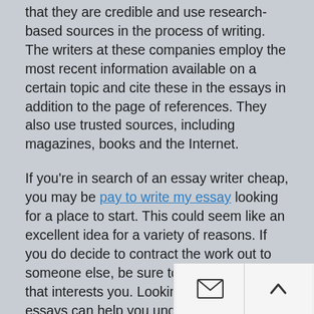that they are credible and use research-based sources in the process of writing. The writers at these companies employ the most recent information available on a certain topic and cite these in the essays in addition to the page of references. They also use trusted sources, including magazines, books and the Internet.
If you're in search of an essay writer cheap, you may be [pay to write my essay] looking for a place to start. This could seem like an excellent idea for a variety of reasons. If you do decide to contract the work out to someone else, be sure to choose a topic that interests you. Looking through other's essays can help you understand how you can structure your essay. Essay hooks are a great way to grab the attention of the reader and get them op... id...
Students will likely feel more pressure than over...